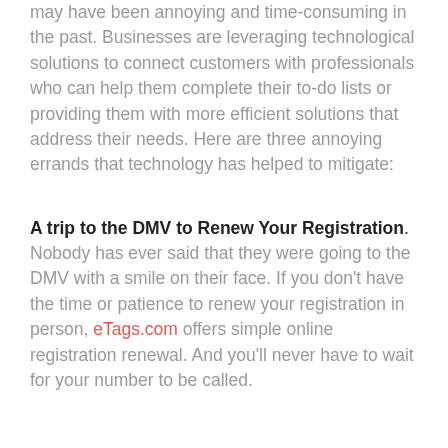may have been annoying and time-consuming in the past. Businesses are leveraging technological solutions to connect customers with professionals who can help them complete their to-do lists or providing them with more efficient solutions that address their needs. Here are three annoying errands that technology has helped to mitigate:
A trip to the DMV to Renew Your Registration.
Nobody has ever said that they were going to the DMV with a smile on their face. If you don't have the time or patience to renew your registration in person, eTags.com offers simple online registration renewal. And you'll never have to wait for your number to be called.